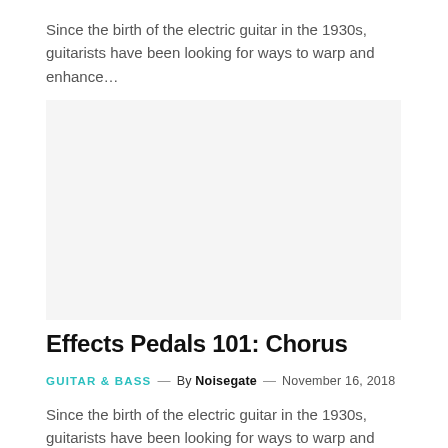Since the birth of the electric guitar in the 1930s, guitarists have been looking for ways to warp and enhance…
[Figure (photo): Image placeholder area (light gray background, likely an article featured image)]
Effects Pedals 101: Chorus
GUITAR & BASS — By Noisegate — November 16, 2018
Since the birth of the electric guitar in the 1930s, guitarists have been looking for ways to warp and enhance…